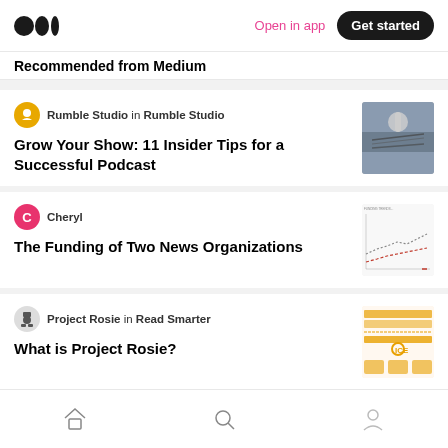Medium logo | Open in app | Get started
Recommended from Medium
Rumble Studio in Rumble Studio
Grow Your Show: 11 Insider Tips for a Successful Podcast
[Figure (photo): Microphone thumbnail image]
Cheryl
The Funding of Two News Organizations
[Figure (continuous-plot): Line chart thumbnail showing funding trends]
Project Rosie in Read Smarter
What is Project Rosie?
[Figure (infographic): Orange infographic thumbnail for Project Rosie]
Omar Taleb